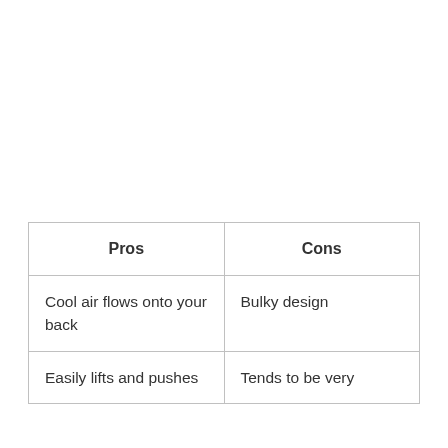| Pros | Cons |
| --- | --- |
| Cool air flows onto your back | Bulky design |
| Easily lifts and pushes | Tends to be very |